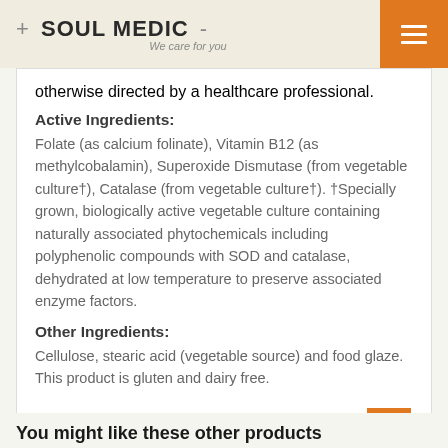+ SOUL MEDIC - We care for you
otherwise directed by a healthcare professional.
Active Ingredients:
Folate (as calcium folinate), Vitamin B12 (as methylcobalamin), Superoxide Dismutase (from vegetable culture†), Catalase (from vegetable culture†). †Specially grown, biologically active vegetable culture containing naturally associated phytochemicals including polyphenolic compounds with SOD and catalase, dehydrated at low temperature to preserve associated enzyme factors.
Other Ingredients:
Cellulose, stearic acid (vegetable source) and food glaze. This product is gluten and dairy free.
You might like these other products